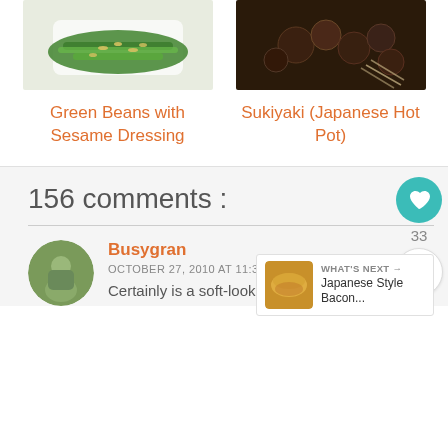[Figure (photo): Photo of green beans with sesame dressing in a white bowl]
[Figure (photo): Photo of Sukiyaki Japanese hot pot with mushrooms and meat]
Green Beans with Sesame Dressing
Sukiyaki (Japanese Hot Pot)
156 comments :
Busygran
OCTOBER 27, 2010 AT 11:34 AM
Certainly is a soft-looking bread!
[Figure (photo): Avatar photo of commenter Busygran]
[Figure (photo): Thumbnail of Japanese Style Bacon bread]
WHAT'S NEXT → Japanese Style Bacon...